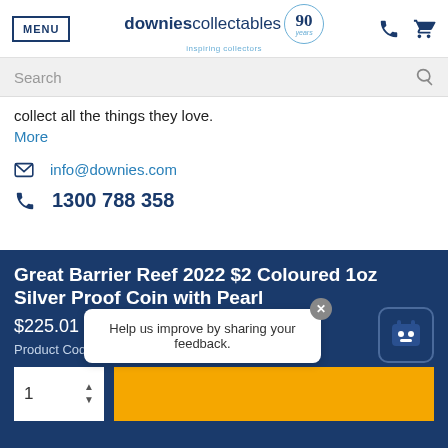MENU | downies collectables 90 years inspiring collectors
Search
collect all the things they love.
More
info@downies.com
1300 788 358
Great Barrier Reef 2022 $2 Coloured 1oz Silver Proof Coin with Pearl
$225.01
Product Code: 27613
Help us improve by sharing your feedback.